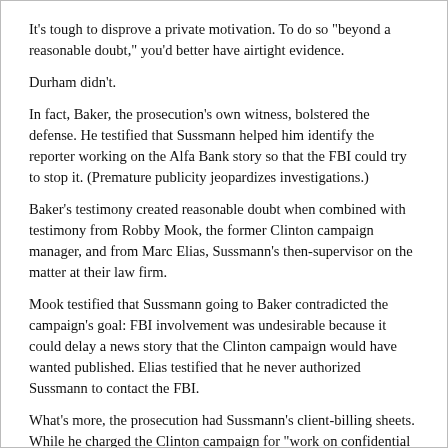It's tough to disprove a private motivation. To do so "beyond a reasonable doubt," you'd better have airtight evidence.
Durham didn't.
In fact, Baker, the prosecution's own witness, bolstered the defense. He testified that Sussmann helped him identify the reporter working on the Alfa Bank story so that the FBI could try to stop it. (Premature publicity jeopardizes investigations.)
Baker's testimony created reasonable doubt when combined with testimony from Robby Mook, the former Clinton campaign manager, and from Marc Elias, Sussmann's then-supervisor on the matter at their law firm.
Mook testified that Sussmann going to Baker contradicted the campaign’s goal: FBI involvement was undesirable because it could delay a news story that the Clinton campaign would have wanted published. Elias testified that he never authorized Sussmann to contact the FBI.
What’s more, the prosecution had Sussmann’s client-billing sheets. While he charged the Clinton campaign for "work on confidential project" the day he spoke to Baker, the billing entry did not mention the FBI. Previously, Sussmann had specifically billed other clients in other matters for "meeting with FBI" when he did so on their behalf.
Reasonable doubt screamed out.
From the start, Durham should have seen that such gaps in his own evidence made declination the better part of valor. As Sussmann's lawyers said after his acquittal yesterday, Sussmann "should never have been charged in the first place. This is a case of extraordinary prosecutorial overreach." Prosecutors know the danger of bringing weak §1001 indictments—deterring individuals from offering tips for fear